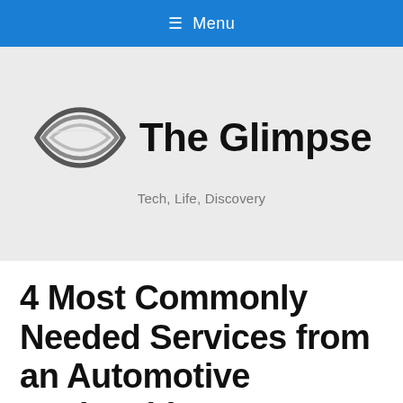☰ Menu
[Figure (logo): The Glimpse logo: stylized eye shape in metallic grey/silver with layered lines, next to bold black text 'The Glimpse'. Below: tagline 'Tech, Life, Discovery']
4 Most Commonly Needed Services from an Automotive Locksmith